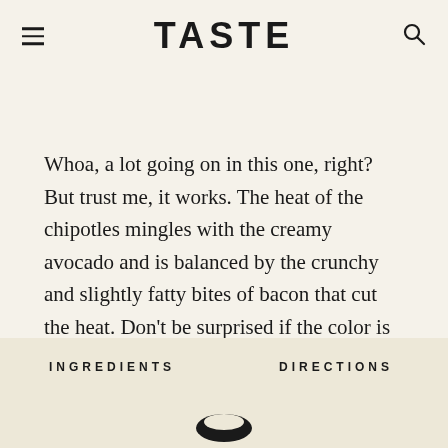TASTE
Whoa, a lot going on in this one, right? But trust me, it works. The heat of the chipotles mingles with the creamy avocado and is balanced by the crunchy and slightly fatty bites of bacon that cut the heat. Don’t be surprised if the color is a little darker than normal—that’s from the sauce.
INGREDIENTS    DIRECTIONS